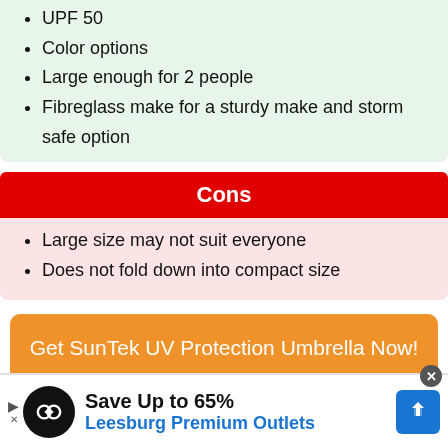UPF 50
Color options
Large enough for 2 people
Fibreglass make for a sturdy make and storm safe option
Cons
Large size may not suit everyone
Does not fold down into compact size
Get SunTek UV Protection Umbrella Now!
Save Up to 65% Leesburg Premium Outlets